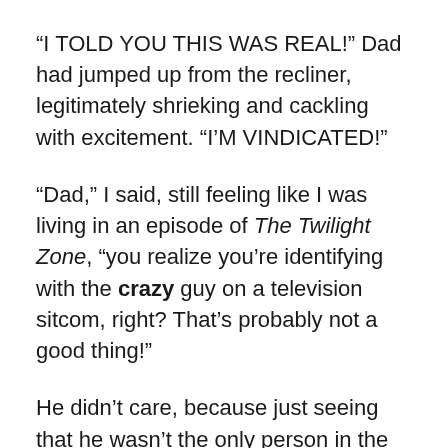“I TOLD YOU THIS WAS REAL!” Dad had jumped up from the recliner, legitimately shrieking and cackling with excitement. “I’M VINDICATED!”
“Dad,” I said, still feeling like I was living in an episode of The Twilight Zone, “you realize you’re identifying with the crazy guy on a television sitcom, right? That’s probably not a good thing!”
He didn’t care, because just seeing that he wasn’t the only person in the world—real or fictitious—who thought numbering socks was a brilliant idea gave him all the security he needed to keep on keeping on. He had proved the naysayers